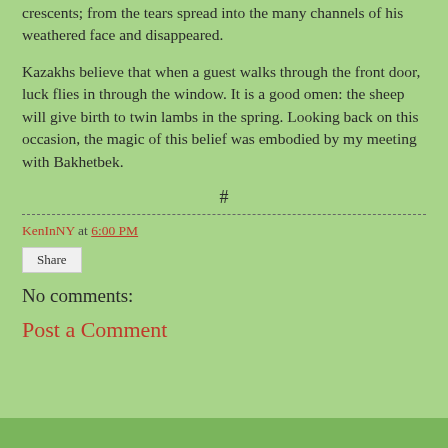crescents; from the tears spread into the many channels of his weathered face and disappeared.
Kazakhs believe that when a guest walks through the front door, luck flies in through the window. It is a good omen: the sheep will give birth to twin lambs in the spring. Looking back on this occasion, the magic of this belief was embodied by my meeting with Bakhetbek.
#
KenInNY at 6:00 PM
Share
No comments:
Post a Comment